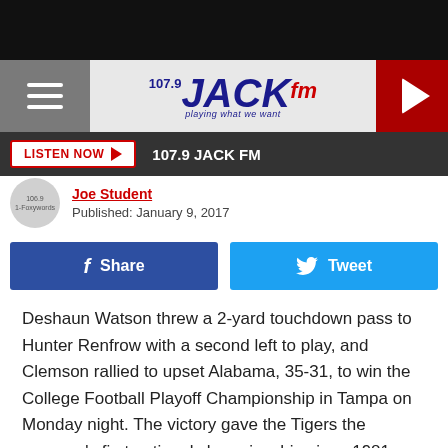[Figure (screenshot): 107.9 Jack FM radio station website header with logo and hamburger menu]
LISTEN NOW ▶  107.9 JACK FM
Joe Student
Published: January 9, 2017
[Figure (infographic): Facebook Share and Twitter Tweet social sharing buttons]
Deshaun Watson threw a 2-yard touchdown pass to Hunter Renfrow with a second left to play, and Clemson rallied to upset Alabama, 35-31, to win the College Football Playoff Championship in Tampa on Monday night. The victory gave the Tigers the program's first national championship since 1981.